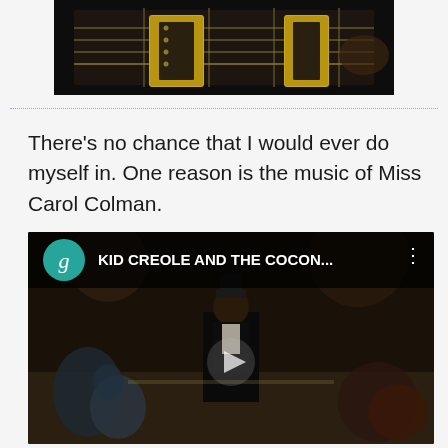[Figure (photo): Close-up photo of guitar fretboard/pickups, dark background, partial view at top of page]
There's no chance that I would ever do myself in. One reason is the music of Miss Carol Colman.
[Figure (screenshot): YouTube/Google Play Music video thumbnail showing KID CREOLE AND THE COCON... with a performer in a tuxedo on stage, dark background, with play button overlay. Has a teal 'g' circle icon and video title in header bar.]